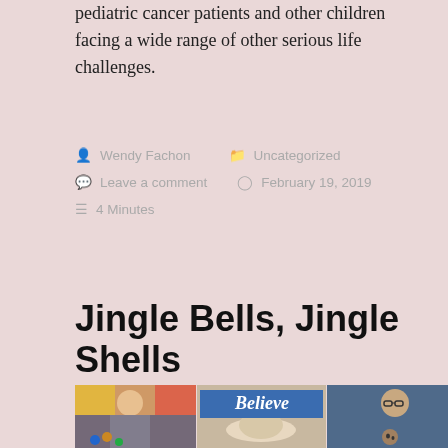pediatric cancer patients and other children facing a wide range of other serious life challenges.
Wendy Fachon   Uncategorized
Leave a comment   February 19, 2019
4 Minutes
Jingle Bells, Jingle Shells
[Figure (photo): Collage of three photos: left shows a young man with colorful background and beaded jewelry; center shows a hand holding a shell with 'Believe' text overlay; right shows a woman with glasses holding a small round object.]